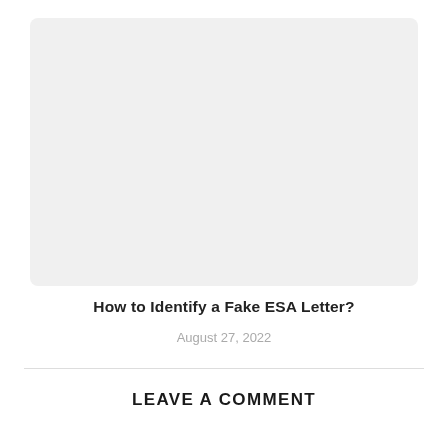[Figure (other): Blank light gray rectangular image placeholder with rounded corners]
How to Identify a Fake ESA Letter?
August 27, 2022
LEAVE A COMMENT